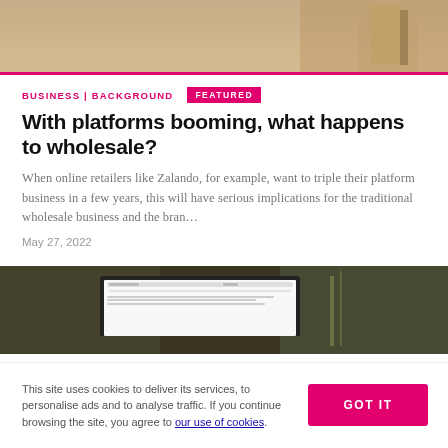[Figure (photo): Top decorative photo showing wooden flooring and furniture]
BUSINESS | BACKGROUND
FEATURED
With platforms booming, what happens to wholesale?
When online retailers like Zalando, for example, want to triple their platform business in a few years, this will have serious implications for the traditional wholesale business and the bran…
May 27, 2022
[Figure (screenshot): Laptop screen showing a website interface on a dark green background]
This site uses cookies to deliver its services, to personalise ads and to analyse traffic. If you continue browsing the site, you agree to our use of cookies.
GOT IT